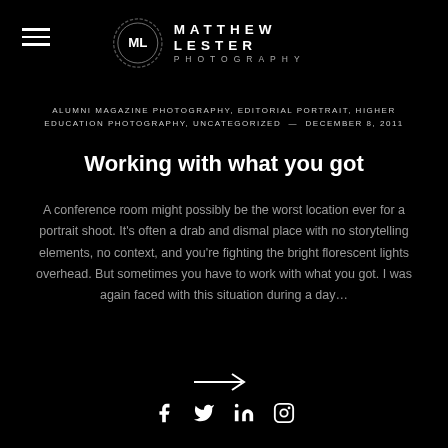MATTHEW LESTER PHOTOGRAPHY
ALUMNI MAGAZINE PHOTOGRAPHY, EDITORIAL PORTRAIT, HIGHER EDUCATION PHOTOGRAPHY, UNCATEGORIZED — DECEMBER 8, 2011
Working with what you got
A conference room might possibly be the worst location ever for a portrait shoot. It's often a drab and dismal place with no storytelling elements, no context, and you're fighting the bright florescent lights overhead. But sometimes you have to work with what you got. I was again faced with this situation during a day…
[Figure (other): Right arrow navigation symbol]
Social icons: Facebook, Twitter, LinkedIn, Instagram